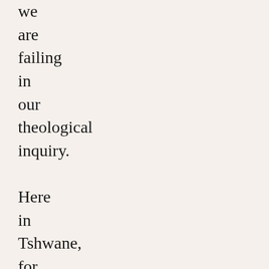we are failing in our theological inquiry.

Here in Tshwane, for example, we still live in the apartheid city– a city